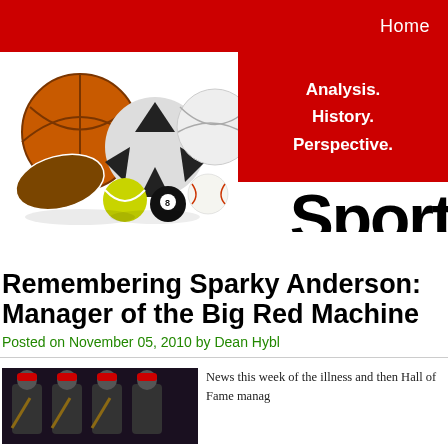Home
[Figure (photo): Sports balls collection (basketball, soccer ball, football, volleyball, tennis ball, billiard ball, baseball) with reflections on white background, next to a red banner reading 'Analysis. History. Perspective.' and large black bold text 'Sport']
Remembering Sparky Anderson: Manager of the Big Red Machine
Posted on November 05, 2010 by Dean Hybl
[Figure (photo): Black and white or dark-toned photo of baseball players in Cincinnati Reds uniforms and caps holding bats]
News this week of the illness and then Hall of Fame manag